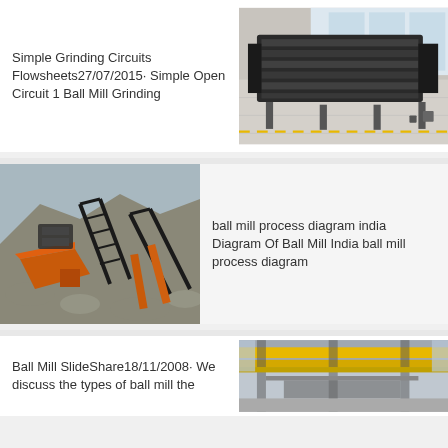Simple Grinding Circuits Flowsheets27/07/2015· Simple Open Circuit 1 Ball Mill Grinding
[Figure (photo): Industrial vibrating screen/conveyor equipment in a factory setting, viewed from above]
[Figure (photo): Outdoor industrial mining/crushing plant with orange machinery and conveyor belts on a hillside]
ball mill process diagram india Diagram Of Ball Mill India ball mill process diagram
Ball Mill SlideShare18/11/2008· We discuss the types of ball mill the
[Figure (photo): Industrial overhead crane or gantry structure with yellow beams]